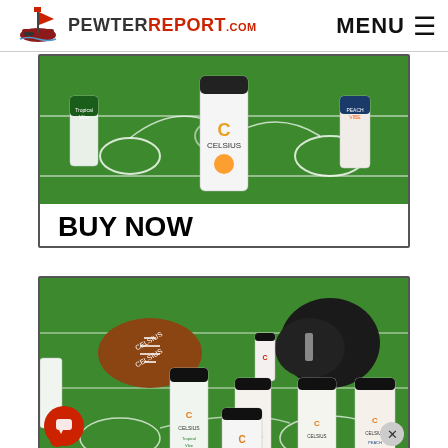[Figure (logo): PewterReport.com logo with pirate ship icon and red/black text]
MENU ☰
[Figure (photo): Advertisement showing Celsius energy drink cans arranged on a football field graphic with play diagrams, featuring a BUY NOW banner at the bottom]
[Figure (photo): Advertisement showing Celsius energy drink cans with a football branded with Celsius logo, a football helmet, and various Celsius can flavors including Tropical Vibe, Peach Vibe, arranged on green turf]